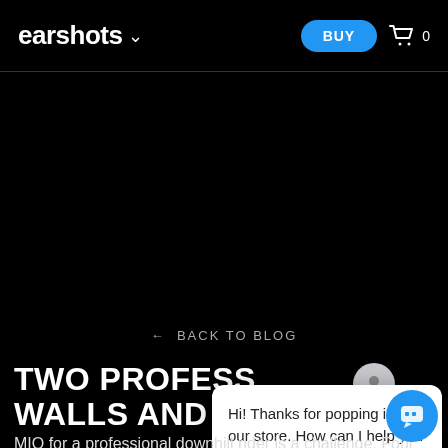earshots ∨   BUY   🛒 0
[Figure (photo): Dark/black hero image area for blog post]
← BACK TO BLOG
TWO PROFESS… WALLS AND A …
MIQ for a professional downhill rider is a challenge. Four walls rather than vertica… and four storeys up rather than hitting t… ground running can take a toll. Sam
Hi! Thanks for popping into our store. How can I help you today?